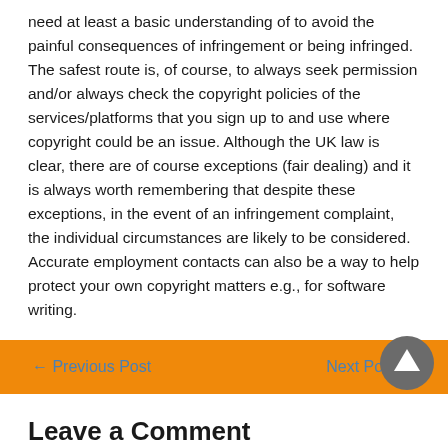need at least a basic understanding of to avoid the painful consequences of infringement or being infringed. The safest route is, of course, to always seek permission and/or always check the copyright policies of the services/platforms that you sign up to and use where copyright could be an issue. Although the UK law is clear, there are of course exceptions (fair dealing) and it is always worth remembering that despite these exceptions, in the event of an infringement complaint, the individual circumstances are likely to be considered. Accurate employment contacts can also be a way to help protect your own copyright matters e.g., for software writing.
← Previous Post    Next Post →
Leave a Comment
Your email address will not be published. Required fields are marked *
Type here..